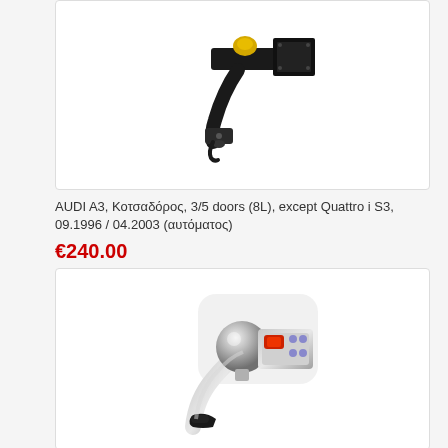[Figure (photo): Black tow hitch / towbar with detachable mechanism for Audi A3, viewed from side/rear angle, showing the hook arm and locking mechanism]
AUDI A3, Κοτσαδόρος, 3/5 doors (8L), except Quattro i S3, 09.1996 / 04.2003 (αυτόματος)
€240.00
[Figure (photo): Silver/chrome detachable tow ball with lever release mechanism, showing the ball mount assembly with red and silver components and a black lever handle]